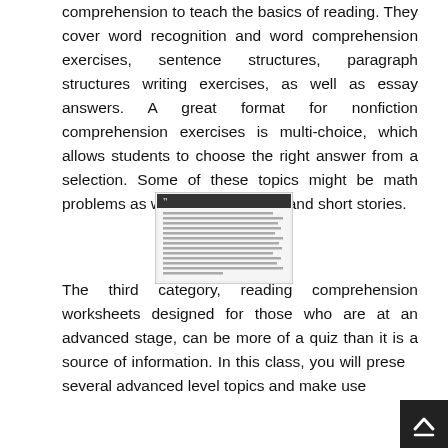comprehension to teach the basics of reading. They cover word recognition and word comprehension exercises, sentence structures, paragraph structures writing exercises, as well as essay answers. A great format for nonfiction comprehension exercises is multi-choice, which allows students to choose the right answer from a selection. Some of these topics might be math problems as well as nature facts and short stories.
[Figure (screenshot): A small thumbnail image of a document page with dense text and a quotation mark visible at top.]
The third category, reading comprehension worksheets designed for those who are at an advanced stage, can be more of a quiz than it is a source of information. In this class, you will present several advanced level topics and make use